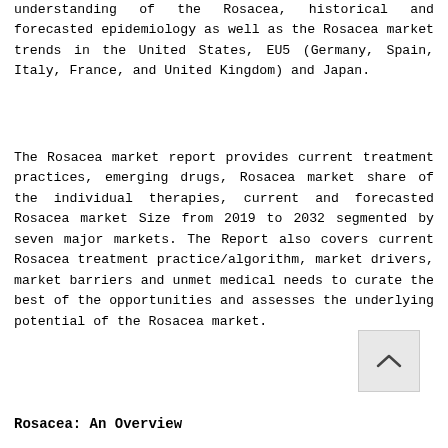understanding of the Rosacea, historical and forecasted epidemiology as well as the Rosacea market trends in the United States, EU5 (Germany, Spain, Italy, France, and United Kingdom) and Japan.
The Rosacea market report provides current treatment practices, emerging drugs, Rosacea market share of the individual therapies, current and forecasted Rosacea market Size from 2019 to 2032 segmented by seven major markets. The Report also covers current Rosacea treatment practice/algorithm, market drivers, market barriers and unmet medical needs to curate the best of the opportunities and assesses the underlying potential of the Rosacea market.
Rosacea: An Overview